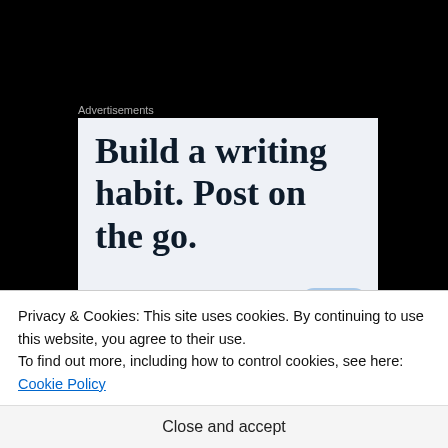Advertisements
Build a writing habit. Post on the go.
GET THE APP
[Figure (logo): WordPress app icon — blue rounded square with white W logo]
Privacy & Cookies: This site uses cookies. By continuing to use this website, you agree to their use.
To find out more, including how to control cookies, see here: Cookie Policy
Close and accept